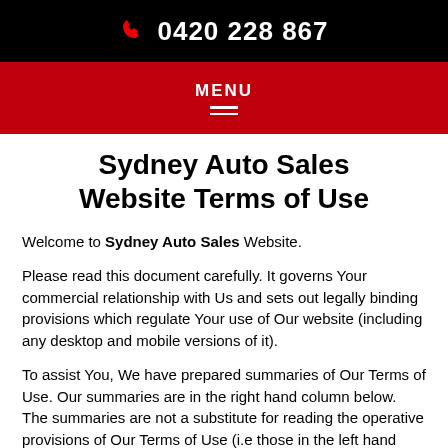0420 228 867
[Figure (other): Red navigation bar with MENU text and hamburger icon]
Sydney Auto Sales Website Terms of Use
Welcome to Sydney Auto Sales Website.
Please read this document carefully. It governs Your commercial relationship with Us and sets out legally binding provisions which regulate Your use of Our website (including any desktop and mobile versions of it).
To assist You, We have prepared summaries of Our Terms of Use. Our summaries are in the right hand column below. The summaries are not a substitute for reading the operative provisions of Our Terms of Use (i.e those in the left hand column below). The operative provisions of Our Terms of Use